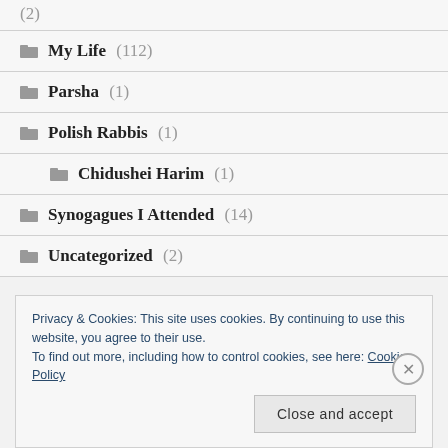(2)
My Life (112)
Parsha (1)
Polish Rabbis (1)
Chidushei Harim (1)
Synogagues I Attended (14)
Uncategorized (2)
Privacy & Cookies: This site uses cookies. By continuing to use this website, you agree to their use. To find out more, including how to control cookies, see here: Cookie Policy
Close and accept